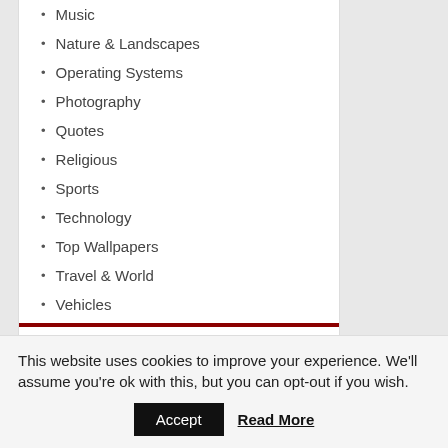Music
Nature & Landscapes
Operating Systems
Photography
Quotes
Religious
Sports
Technology
Top Wallpapers
Travel & World
Vehicles
RECENT WALLPAPERS & IMAGES
Ferris Wheel Wallpapers
This website uses cookies to improve your experience. We'll assume you're ok with this, but you can opt-out if you wish.